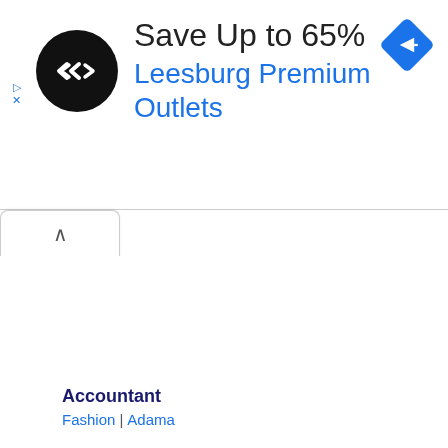[Figure (screenshot): Advertisement banner: black circle logo with double-arrow icon, headline 'Save Up to 65%', subline 'Leesburg Premium Outlets', blue diamond navigation icon top-right, play and close controls on left side]
Save Up to 65%
Leesburg Premium Outlets
Accountant
Fashion | Adama